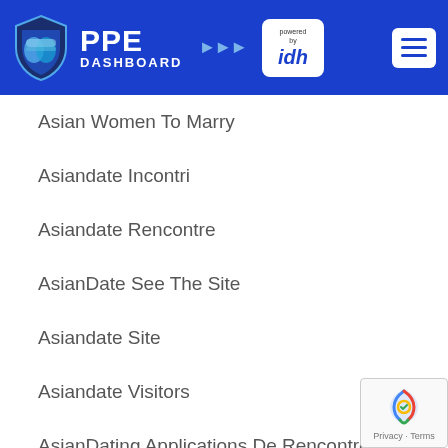[Figure (logo): PPE Dashboard logo with shield icon and 'powered by idh' badge on blue header background, plus hamburger menu button]
Asian Women To Marry
Asiandate Incontri
Asiandate Rencontre
AsianDate See The Site
Asiandate Site
Asiandate Visitors
AsianDating Applications De Rencontres
AsianDating Borrar Cuenta
[Figure (logo): reCAPTCHA badge with Google reCAPTCHA icon and Privacy - Terms text]